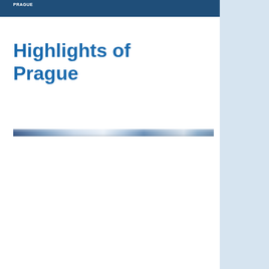PRAGUE
Highlights of Prague
[Figure (photo): Horizontal panoramic decorative banner image with a light blue and silver metallic appearance, suggesting a cityscape or sky.]